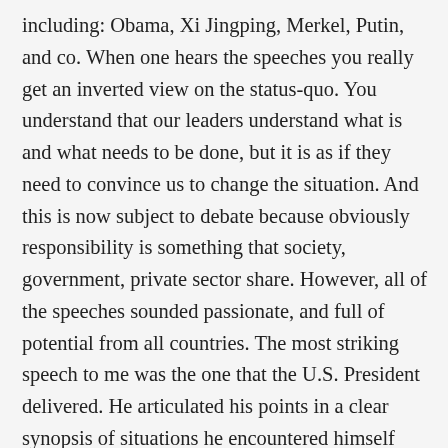including: Obama, Xi Jingping, Merkel, Putin, and co. When one hears the speeches you really get an inverted view on the status-quo. You understand that our leaders understand what is and what needs to be done, but it is as if they need to convince us to change the situation. And this is now subject to debate because obviously responsibility is something that society, government, private sector share. However, all of the speeches sounded passionate, and full of potential from all countries. The most striking speech to me was the one that the U.S. President delivered. He articulated his points in a clear synopsis of situations he encountered himself around the world, it was a vivid walkthrough of what we are dealing with right now. Resultantly, Mr. Obama sent very strong messages to his colleagues and to the rest of the world. Noting on the fact that it is the wealthiest country in the world, he stood tall when recognizing the culpability in the status quo and the responsibility that the United States bears for propelling the fight against climate change and in building the future we want.